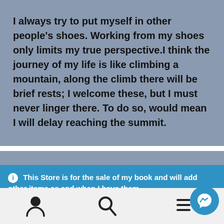I always try to put myself in other people's shoes. Working from my shoes only limits my true perspective.I think the journey of my life is like climbing a mountain, along the climb there will be brief rests; I welcome these, but I must never linger there. To do so, would mean I will delay reaching the summit.
ℹ This Store is for the sale of my book and will add other items as and when I have them. Dismiss